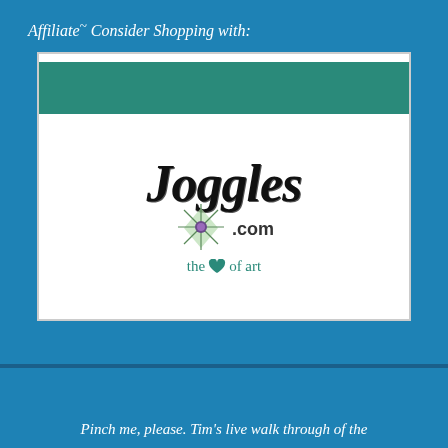Affiliate~ Consider Shopping with:
[Figure (logo): Joggles.com logo with teal banner bar at top, large stylized 'Joggles' text in black italic serif font, a starburst gem icon, '.com' text, and tagline 'the heart of art' in teal cursive below]
Pinch me, please. Tim's live walk through of the